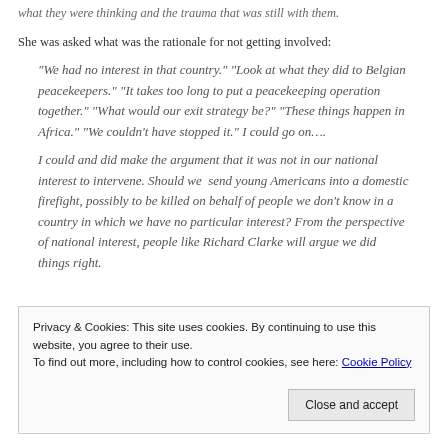what they were thinking and the trauma that was still with them.
She was asked what was the rationale for not getting involved:
“We had no interest in that country.” “Look at what they did to Belgian peacekeepers.” “It takes too long to put a peacekeeping operation together.” “What would our exit strategy be?” “These things happen in Africa.” “We couldn’t have stopped it.” I could go on….
I could and did make the argument that it was not in our national interest to intervene. Should we  send young Americans into a domestic firefight, possibly to be killed on behalf of people we don’t know in a country in which we have no particular interest? From the perspective of national interest, people like Richard Clarke will argue we did things right.
Privacy & Cookies: This site uses cookies. By continuing to use this website, you agree to their use.
To find out more, including how to control cookies, see here: Cookie Policy
Close and accept